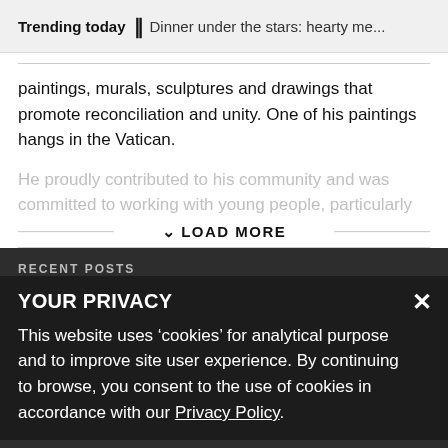Trending today || Dinner under the stars: hearty me...
paintings, murals, sculptures and drawings that promote reconciliation and unity. One of his paintings hangs in the Vatican.
He proudly contributed to his community and was committed to working with young people, particularly
LOAD MORE
RECENT POSTS
YOUR PRIVACY
This website uses 'cookies' for analytical purpose and to improve site user experience. By continuing to browse, you consent to the use of cookies in accordance with our Privacy Policy.
How a birth pill changed...work from divorce to investor
COUNCIL, DIVISION 1